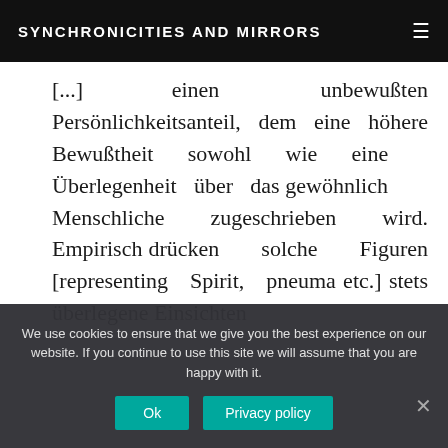SYNCHRONICITIES AND MIRRORS
[...] einen unbewußten Persönlichkeitsanteil, dem eine höhere Bewußtheit sowohl wie eine Überlegenheit über das gewöhnlich Menschliche zugeschrieben wird. Empirisch drücken solche Figuren [representing Spirit, pneuma etc.] stets überlegene Einsichten
We use cookies to ensure that we give you the best experience on our website. If you continue to use this site we will assume that you are happy with it.